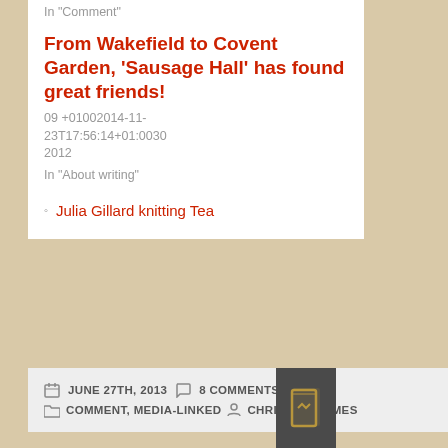In "Comment"
From Wakefield to Covent Garden, 'Sausage Hall' has found great friends!
09 +01002014-11-23T17:56:14+01:0030 2012
In "About writing"
Julia Gillard knitting Tea
JUNE 27TH, 2013  8 COMMENTS  COMMENT, MEDIA-LINKED  CHRISTINA JAMES